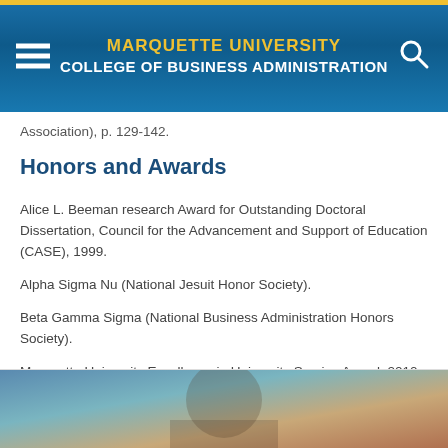MARQUETTE UNIVERSITY COLLEGE OF BUSINESS ADMINISTRATION
Association), p. 129-142.
Honors and Awards
Alice L. Beeman research Award for Outstanding Doctoral Dissertation, Council for the Advancement and Support of Education (CASE), 1999.
Alpha Sigma Nu (National Jesuit Honor Society).
Beta Gamma Sigma (National Business Administration Honors Society).
Marquette University Excellence in University Service Award, 2010.
[Figure (photo): Partial photo of a person near a document or presentation board, visible at the bottom of the page.]